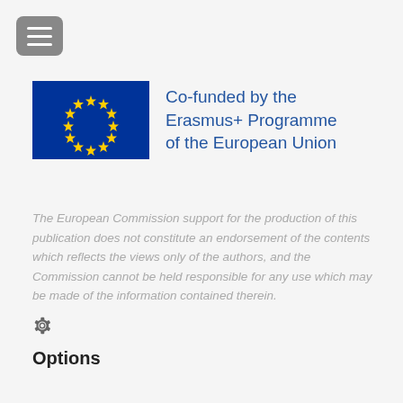[Figure (logo): Hamburger menu button (three horizontal lines on grey rounded rectangle background)]
[Figure (logo): EU flag (blue rectangle with circle of 12 yellow stars) alongside text 'Co-funded by the Erasmus+ Programme of the European Union' in blue]
The European Commission support for the production of this publication does not constitute an endorsement of the contents which reflects the views only of the authors, and the Commission cannot be held responsible for any use which may be made of the information contained therein.
[Figure (other): Gear/settings icon]
Options